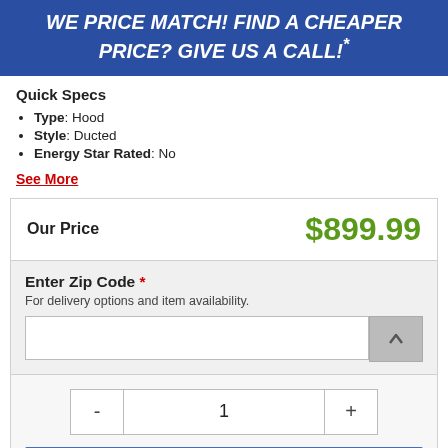WE PRICE MATCH! FIND A CHEAPER PRICE? GIVE US A CALL!*
Quick Specs
Type: Hood
Style: Ducted
Energy Star Rated: No
See More
Our Price    $899.99
Enter Zip Code *
For delivery options and item availability.
1
Add to Cart